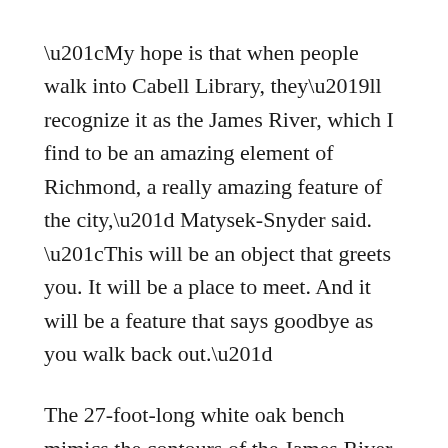“My hope is that when people walk into Cabell Library, they’ll recognize it as the James River, which I find to be an amazing element of Richmond, a really amazing feature of the city,” Matysek-Snyder said. “This will be an object that greets you. It will be a place to meet. And it will be a feature that says goodbye as you walk back out.”
The 27-foot-long white oak bench mimics the contours of the James River from Pony Pasture to the 14th Street Bridge, with aluminum on top of the bench representing